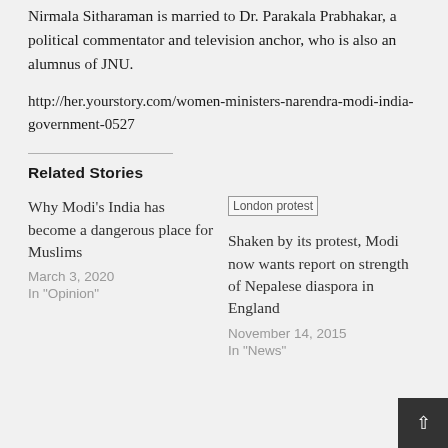Nirmala Sitharaman is married to Dr. Parakala Prabhakar, a political commentator and television anchor, who is also an alumnus of JNU.
http://her.yourstory.com/women-ministers-narendra-modi-india-government-0527
Related Stories
Why Modi's India has become a dangerous place for Muslims
March 3, 2020
In "Opinion"
[Figure (photo): London protest image thumbnail]
Shaken by its protest, Modi now wants report on strength of Nepalese diaspora in England
November 14, 2015
In "News"